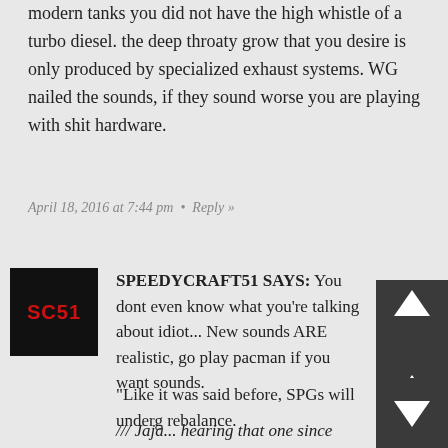modern tanks you did not have the high whistle of a turbo diesel. the deep throaty grow that you desire is only produced by specialized exhaust systems. WG nailed the sounds, if they sound worse you are playing with shit hardware.
April 18, 2016 at 7:44 pm  •  Reply »
SPEEDYCRAFT51 SAYS: You dont even know what you're talking about idiot... New sounds ARE realistic, go play pacman if you want sounds.
"Like it was said before, SPGs will underge rebalance.
/// Jaja... hearing that one since Beta." Well dude you havent played WoT a lot sinc